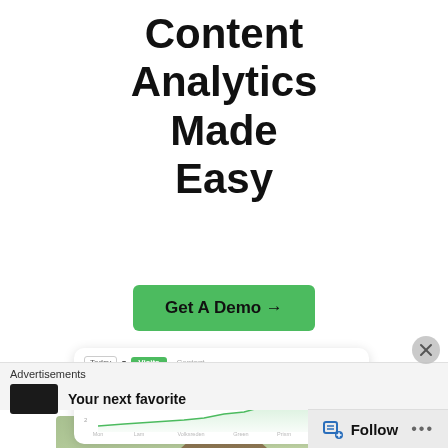Content Analytics Made Easy
Get A Demo →
[Figure (screenshot): Dashboard analytics screenshot showing an area chart with visits data, overlaid on a photo of a smiling woman with brown hair in a green shirt, sitting at a desk]
Advertisements
Your next favorite
Follow